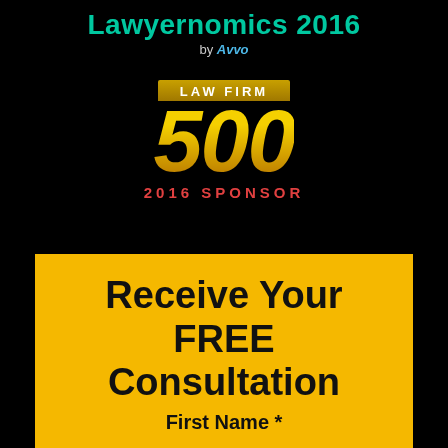Lawyernomics 2016 by Avvo
[Figure (logo): Law Firm 500 — 2016 Sponsor badge logo with gold '500' text and red subtitle]
Receive Your FREE Consultation
First Name *